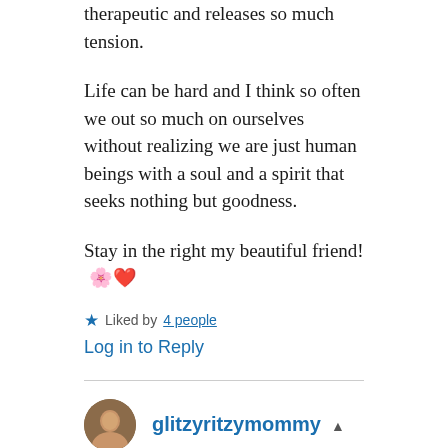therapeutic and releases so much tension.
Life can be hard and I think so often we out so much on ourselves without realizing we are just human beings with a soul and a spirit that seeks nothing but goodness.
Stay in the right my beautiful friend! 🌸❤️
★ Liked by 4 people
Log in to Reply
glitzyritzymommy
July 15, 2020 at 1:38 pm
Thank you so im so to and ❤️ that to so so do to